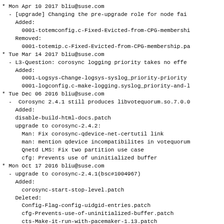* Mon Apr 10 2017 bliu@suse.com
  - [upgrade] Changing the pre-upgrade role for node fai
    Added:
      0001-totemconfig.c-Fixed-Evicted-from-CPG-membershi
    Removed:
      0001-totemip.c-Fixed-Evicted-from-CPG-membership.pa
* Tue Mar 14 2017 bliu@suse.com
  - L3-Question: corosync logging priority takes no effe
    Added:
      0001-Logsys-Change-logsys-syslog_priority-priority
      0001-logconfig.c-make-logging.syslog_priority-and-l
* Tue Dec 06 2016 bliu@suse.com
  -  Corosync 2.4.1 still produces libvotequorum.so.7.0.0
    Added:
    disable-build-html-docs.patch
    upgrade to corosync-2.4.2:
      Man: Fix corosync-qdevice-net-certutil link
      man: mention qdevice incompatibilites in votequorum
      Qnetd LMS: Fix two partition use case
      cfg: Prevents use of uninitialized buffer
* Mon Oct 17 2016 bliu@suse.com
  - upgrade to corosync-2.4.1(bsc#1004967)
    Added:
      corosync-start-stop-level.patch
    Deleted:
      Config-Flag-config-uidgid-entries.patch
      cfg-Prevents-use-of-uninitialized-buffer.patch
      cts-Make-it-run-with-pacemaker-1.13.patch
      get_cluster_mcast_addr_error-is-not-fatal.patch
      totemsrp-Addition-of-the-log.patch